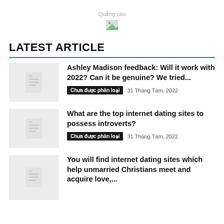[Figure (other): Advertisement placeholder with broken image icon and label 'Quảng cáo']
LATEST ARTICLE
Ashley Madison feedback: Will it work with 2022? Can it be genuine? We tried...
Chưa được phân loại  31 Tháng Tám, 2022
What are the top internet dating sites to possess introverts?
Chưa được phân loại  31 Tháng Tám, 2022
You will find internet dating sites which help unmarried Christians meet and acquire love,...